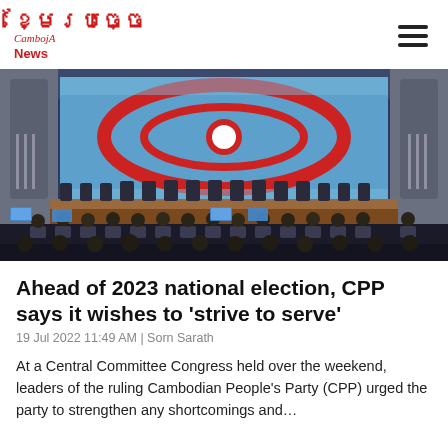CambojA News
[Figure (photo): A large congress hall showing officials seated at a long head table on a stage, with a large blue and red CPP party logo displayed on a screen behind them. The audience is seated in rows facing the stage, many holding up phones to photograph or film the proceedings.]
Ahead of 2023 national election, CPP says it wishes to 'strive to serve'
19 Jul 2022 11:49 AM | Sorn Sarath
At a Central Committee Congress held over the weekend, leaders of the ruling Cambodian People's Party (CPP) urged the party to strengthen any shortcomings and…